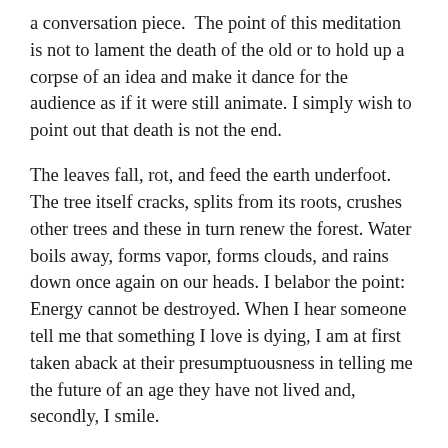a conversation piece. The point of this meditation is not to lament the death of the old or to hold up a corpse of an idea and make it dance for the audience as if it were still animate. I simply wish to point out that death is not the end.
The leaves fall, rot, and feed the earth underfoot. The tree itself cracks, splits from its roots, crushes other trees and these in turn renew the forest. Water boils away, forms vapor, forms clouds, and rains down once again on our heads. I belabor the point: Energy cannot be destroyed. When I hear someone tell me that something I love is dying, I am at first taken aback at their presumptuousness in telling me the future of an age they have not lived and, secondly, I smile.
The rushing river is the death of the stagnant lake.
I see no death in the world but rather metamorphosis of life. And I see Backpacking change before my eyes. I see faster, lighter, with less impact on the trail. I see new ways of solving old problems. I see minds coming together.
And, yes, I see distraction from the trail beneath our feet. I see